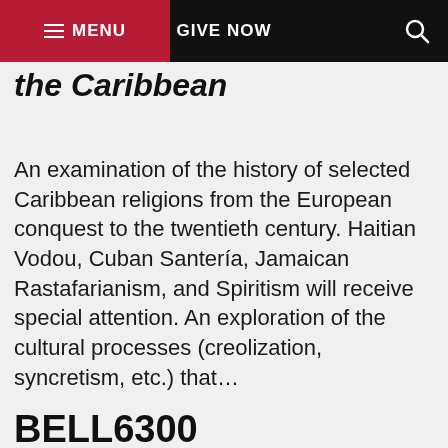MENU | GIVE NOW
the Caribbean
An examination of the history of selected Caribbean religions from the European conquest to the twentieth century. Haitian Vodou, Cuban Santería, Jamaican Rastafarianism, and Spiritism will receive special attention. An exploration of the cultural processes (creolization, syncretism, etc.) that…
BELL6300